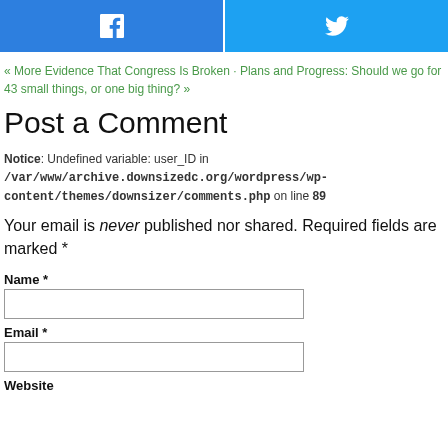[Figure (other): Social share buttons: Facebook (blue) and Twitter (light blue) side by side]
« More Evidence That Congress Is Broken · Plans and Progress: Should we go for 43 small things, or one big thing? »
Post a Comment
Notice: Undefined variable: user_ID in /var/www/archive.downsizedc.org/wordpress/wp-content/themes/downsizer/comments.php on line 89
Your email is never published nor shared. Required fields are marked *
Name *
Email *
Website